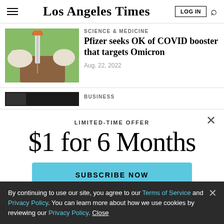Los Angeles Times
SCIENCE & MEDICINE
Pfizer seeks OK of COVID booster that targets Omicron
Aug. 22, 2022
BUSINESS
LIMITED-TIME OFFER
$1 for 6 Months
SUBSCRIBE NOW
By continuing to use our site, you agree to our Terms of Service and Privacy Policy. You can learn more about how we use cookies by reviewing our Privacy Policy. Close